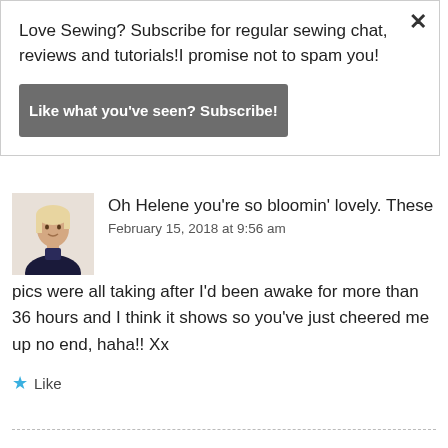Love Sewing? Subscribe for regular sewing chat, reviews and tutorials!I promise not to spam you!
Like what you've seen? Subscribe!
[Figure (photo): Avatar photo of a woman in a dark t-shirt]
Oh Helene you're so bloomin' lovely. These pics were all taking after I'd been awake for more than 36 hours and I think it shows so you've just cheered me up no end, haha!! Xx
February 15, 2018 at 9:56 am
Like